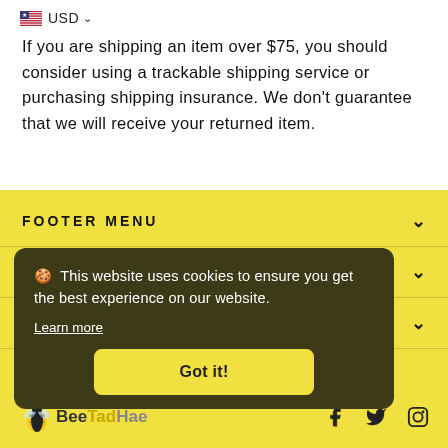🇺🇸 USD ∨
If you are shipping an item over $75, you should consider using a trackable shipping service or purchasing shipping insurance. We don't guarantee that we will receive your returned item.
FOOTER MENU
MAIN MENU
SIGN UP AND SAVE
🍪 This website uses cookies to ensure you get the best experience on our website. Learn more
Got it!
BeeTadHae — Facebook, Twitter, Instagram